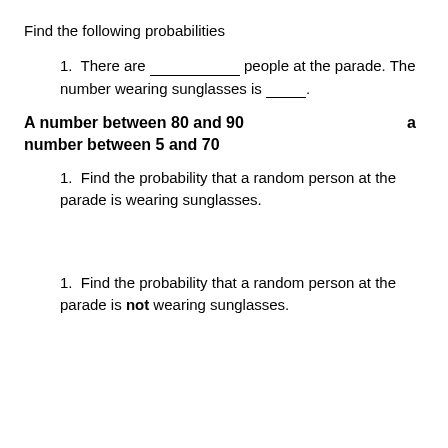Find the following probabilities
There are __________ people at the parade. The number wearing sunglasses is _____.
A number between 80 and 90                                    a number between 5 and 70
Find the probability that a random person at the parade is wearing sunglasses.
Find the probability that a random person at the parade is not wearing sunglasses.